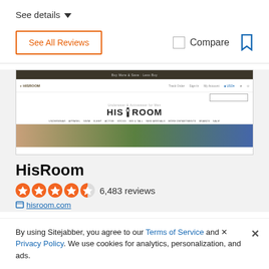See details ▾
See All Reviews
Compare
[Figure (screenshot): Screenshot of HisRoom website showing the logo, navigation menu with Underwear, Apparel, Swim, Sleep, Active, Socks, Big & Tall, New Arrivals, More Departments, Brands, Sale, and a banner image.]
HisRoom
6,483 reviews
hisroom.com
By using Sitejabber, you agree to our Terms of Service and Privacy Policy. We use cookies for analytics, personalization, and ads.